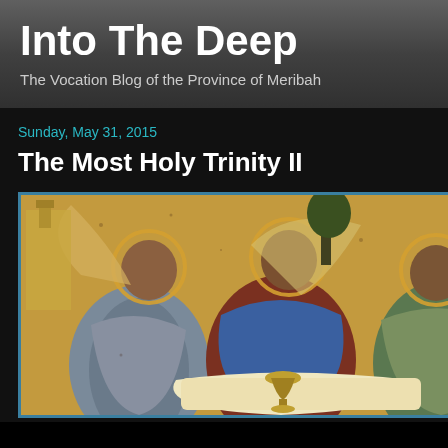Into The Deep
The Vocation Blog of the Province of Meribah
Sunday, May 31, 2015
The Most Holy Trinity II
[Figure (illustration): Religious icon depicting three angelic figures seated around a table — the Trinity icon (Andrei Rublev style). Figures in blue, gold, and dark red robes with halos, seated at a white table with a chalice, tree in background.]